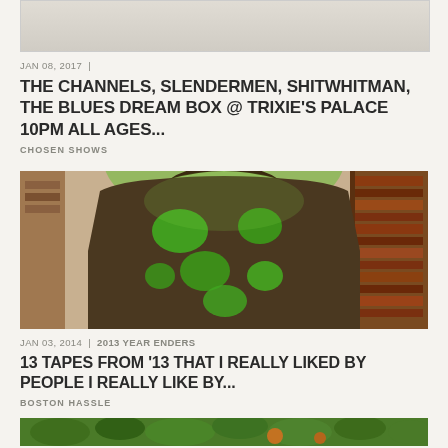[Figure (photo): Top partial image strip, cut off at top of page]
JAN 08, 2017 |
THE CHANNELS, SLENDERMEN, SHITWHITMAN, THE BLUES DREAM BOX @ TRIXIE'S PALACE 10PM ALL AGES...
CHOSEN SHOWS
[Figure (photo): Photo of a person wearing a brown hoodie with green glowing spots, standing near a bookshelf]
JAN 03, 2014 | 2013 YEAR ENDERS
13 TAPES FROM '13 THAT I REALLY LIKED BY PEOPLE I REALLY LIKE BY...
BOSTON HASSLE
[Figure (photo): Bottom partial image strip showing green foliage, cut off at bottom of page]